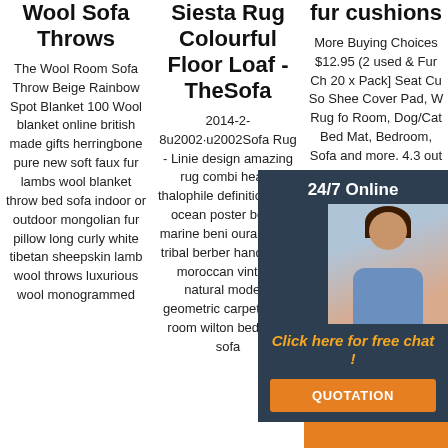Wool Sofa Throws
The Wool Room Sofa Throw Beige Rainbow Spot Blanket 100 Wool blanket online british made gifts herringbone pure new soft faux fur lambs wool blanket throw bed sofa indoor or outdoor mongolian fur pillow long curly white tibetan sheepskin lamb wool throws luxurious wool monogrammed
Siesta Rug Colourful Floor Loaf - TheSofa
2014-2-8u2002·u2002Sofa Rug - Linie design amazing rug combi heal s thalophile definition print ocean poster beach marine beni ourain rugs tribal berber handmade moroccan vintage natural modern geometric carpet living room wilton bedroom sofa
fur cushions
More Buying Choices $12.95 (2 used & Fur Ch 20 x Pack] Seat Cu So Shee Cover Pad, W Rug fo Room, Dog/Cat Bed Mat, Bedroom, Sofa and more. 4.3 out of 5 stars. 109.
[Figure (photo): Customer service representative with headset, 24/7 online chat widget overlay with dark background, orange 'QUOTATION' button, and 'Click here for free chat!' text in orange]